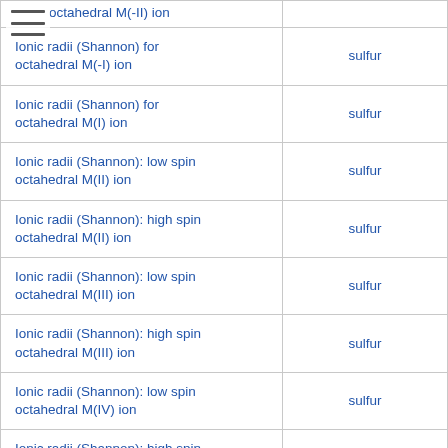| Property | Element |
| --- | --- |
| Ionic radii (Shannon) for octahedral M(-I) ion | sulfur |
| Ionic radii (Shannon) for octahedral M(-I) ion | sulfur |
| Ionic radii (Shannon) for octahedral M(I) ion | sulfur |
| Ionic radii (Shannon): low spin octahedral M(II) ion | sulfur |
| Ionic radii (Shannon): high spin octahedral M(II) ion | sulfur |
| Ionic radii (Shannon): low spin octahedral M(III) ion | sulfur |
| Ionic radii (Shannon): high spin octahedral M(III) ion | sulfur |
| Ionic radii (Shannon): low spin octahedral M(IV) ion | sulfur |
| Ionic radii (Shannon): high spin octahedral M(IV) ion | sulfur |